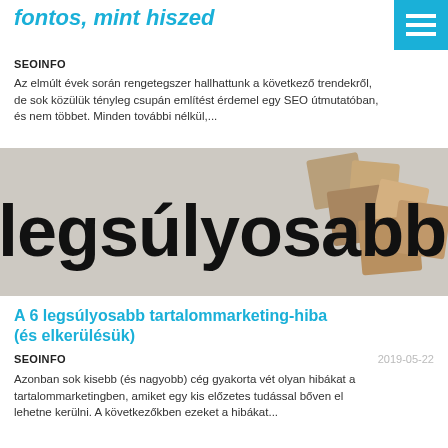fontos, mint hiszed
SEOINFO
Az elmúlt évek során rengetegszer hallhattunk a következő trendekről, de sok közülük tényleg csupán említést érdemel egy SEO útmutatóban, és nem többet. Minden további nélkül,...
[Figure (photo): Article thumbnail image showing wooden blocks with large bold text 'legsúlyosabb hibá' overlaid on a light grey background]
A 6 legsúlyosabb tartalommarketing-hiba (és elkerülésük)
SEOINFO
2019-05-22
Azonban sok kisebb (és nagyobb) cég gyakorta vét olyan hibákat a tartalommarketingben, amiket egy kis előzetes tudással bőven el lehetne kerülni. A következőkben ezeket a hibákat...